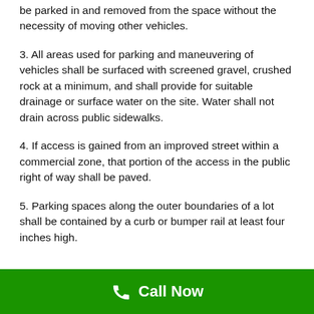be parked in and removed from the space without the necessity of moving other vehicles.
3. All areas used for parking and maneuvering of vehicles shall be surfaced with screened gravel, crushed rock at a minimum, and shall provide for suitable drainage or surface water on the site. Water shall not drain across public sidewalks.
4. If access is gained from an improved street within a commercial zone, that portion of the access in the public right of way shall be paved.
5. Parking spaces along the outer boundaries of a lot shall be contained by a curb or bumper rail at least four inches high.
Call Now